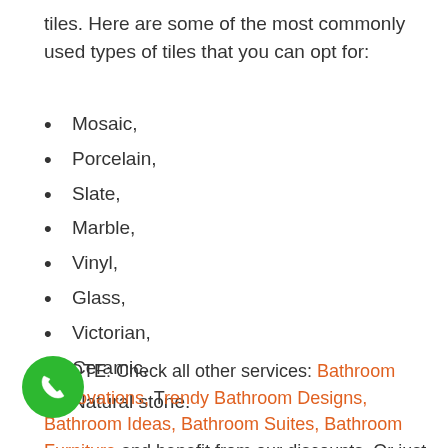tiles. Here are some of the most commonly used types of tiles that you can opt for:
Mosaic,
Porcelain,
Slate,
Marble,
Vinyl,
Glass,
Victorian,
Ceramic,
Natural stone.
* NOTE: Check all other services: Bathroom Renovations, Trendy Bathroom Designs, Bathroom Ideas, Bathroom Suites, Bathroom Furniture and benefit from our discounts. Or just simply contact us for a free quote. Please also have a look at